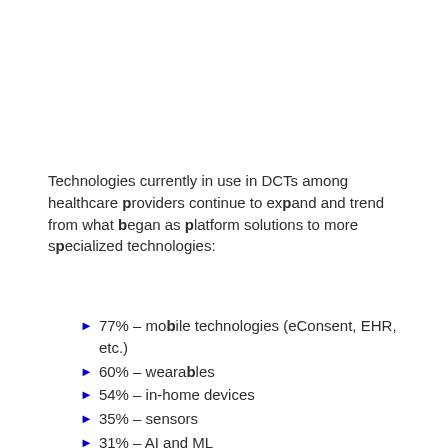Technologies currently in use in DCTs among healthcare providers continue to expand and trend from what began as platform solutions to more specialized technologies:
77% – mobile technologies (eConsent, EHR, etc.)
60% – wearables
54% – in-home devices
35% – sensors
31% – AI and ML